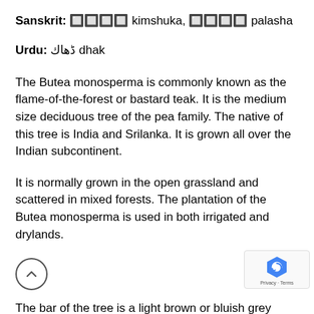Sanskrit: किंशुक kimshuka, पलाश palasha
Urdu: ڈھاک dhak
The Butea monosperma is commonly known as the flame-of-the-forest or bastard teak. It is the medium size deciduous tree of the pea family. The native of this tree is India and Srilanka. It is grown all over the Indian subcontinent.
It is normally grown in the open grassland and scattered in mixed forests. The plantation of the Butea monosperma is used in both irrigated and drylands.
The bar of the tree is a light brown or bluish grey…